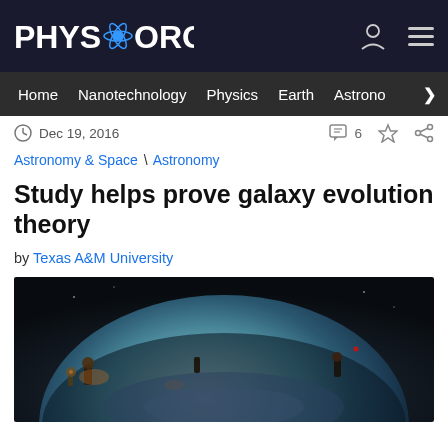PHYS.ORG
Home | Nanotechnology | Physics | Earth | Astronomy >
Dec 19, 2016  6
Astronomy & Space \ Astronomy
Study helps prove galaxy evolution theory
by Texas A&M University
[Figure (photo): Dome of a planetarium or observatory at night showing star projector equipment and a galaxy-lit interior dome]